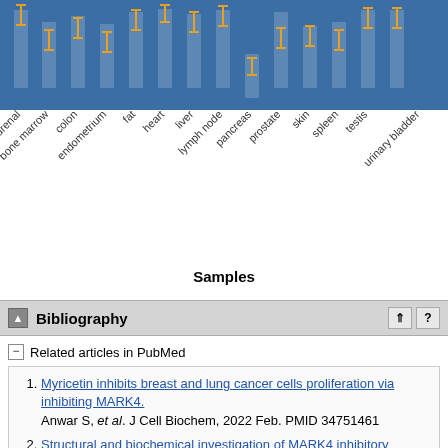[Figure (bar-chart): Bar chart showing sample data across tissue types with error bars, blue bars with orange error bars]
Samples
Bibliography
Related articles in PubMed
Myricetin inhibits breast and lung cancer cells proliferation via inhibiting MARK4. Anwar S, et al. J Cell Biochem, 2022 Feb. PMID 34751461
Structural and biochemical investigation of MARK4 inhibitory potential of cholic acid: Towards therapeutic implications in neurodegenerative diseases. Anwar S, et al. Int J Biol Macromol, 2020 Oct 15. PMID 32535203